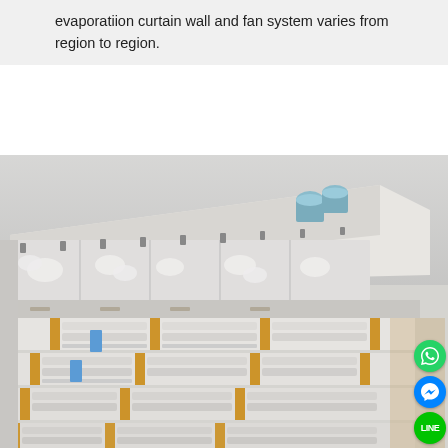evaporatiion curtain wall and fan system varies from region to region.
[Figure (photo): 3D rendered aerial perspective of a large industrial poultry or livestock farming facility showing multiple rows of white building sections, orange-accented partitions, equipment rows, and blue cylindrical water tanks on the roof, with social media contact icons overlaid on the right side.]